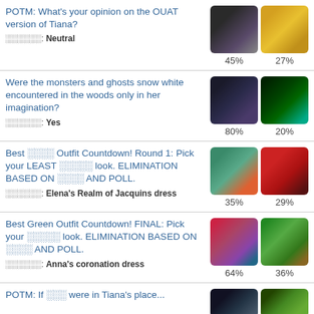POTM: What's your opinion on the OUAT version of Tiana?
░░░░░░: Neutral | 45% / 27%
Were the monsters and ghosts snow white encountered in the woods only in her imagination?
░░░░░░: Yes | 80% / 20%
Best ░░░░ Outfit Countdown! Round 1: Pick your LEAST ░░░░░ look. ELIMINATION BASED ON ░░░░ AND POLL.
░░░░░░: Elena's Realm of Jacquins dress | 35% / 29%
Best Green Outfit Countdown! FINAL: Pick your ░░░░░ look. ELIMINATION BASED ON ░░░░ AND POLL.
░░░░░░: Anna's coronation dress | 64% / 36%
POTM: If ░░░ were in Tiana's place...